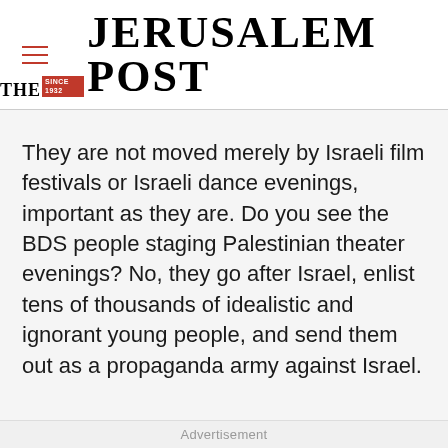THE JERUSALEM POST
They are not moved merely by Israeli film festivals or Israeli dance evenings, important as they are. Do you see the BDS people staging Palestinian theater evenings? No, they go after Israel, enlist tens of thousands of idealistic and ignorant young people, and send them out as a propaganda army against Israel.
Advertisement